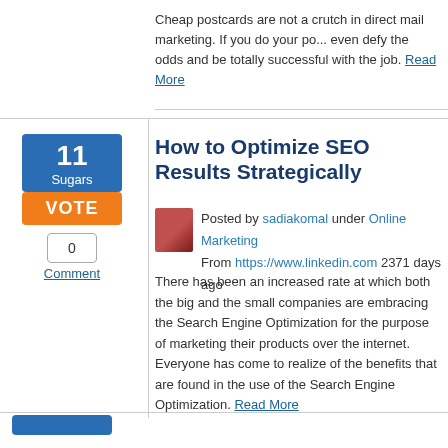Cheap postcards are not a crutch in direct mail marketing. If you do your po... even defy the odds and be totally successful with the job. Read More
How to Optimize SEO Results Strategically
Posted by sadiakomal under Online Marketing
From https://www.linkedin.com 2371 days ago
There has been an increased rate at which both the big and the small companies are embracing the Search Engine Optimization for the purpose of marketing their products over the internet. Everyone has come to realize of the benefits that are found in the use of the Search Engine Optimization. Read More